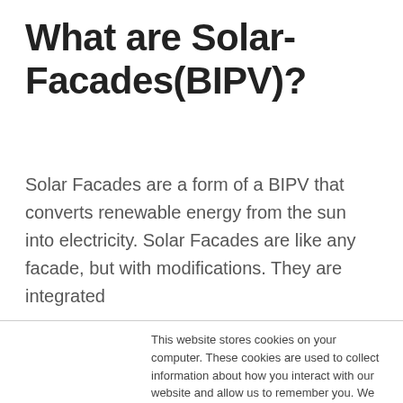What are Solar-Facades(BIPV)?
Solar Facades are a form of a BIPV that converts renewable energy from the sun into electricity. Solar Facades are like any facade, but with modifications. They are integrated
This website stores cookies on your computer. These cookies are used to collect information about how you interact with our website and allow us to remember you. We use this information in order to improve and customize your browsing experience and for analytics and metrics about our visitors both on this website and other media. To find out more about the cookies we use, see our Privacy Policy
If you decline, your information won’t be tracked when you visit this website. A single cookie will be used in your browser to remember your preference not to be tracked.